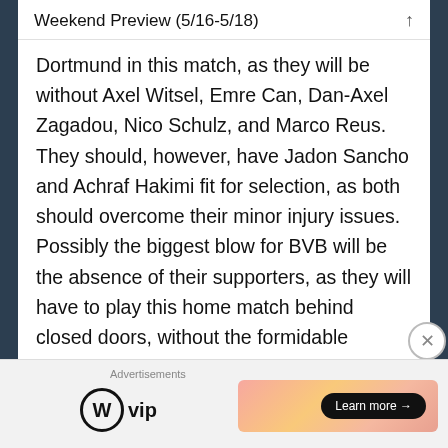Weekend Preview (5/16-5/18)
Dortmund in this match, as they will be without Axel Witsel, Emre Can, Dan-Axel Zagadou, Nico Schulz, and Marco Reus. They should, however, have Jadon Sancho and Achraf Hakimi fit for selection, as both should overcome their minor injury issues. Possibly the biggest blow for BVB will be the absence of their supporters, as they will have to play this home match behind closed doors, without the formidable atmosphere that their stadium creates. Dortmund have the best home record in the league this season, partially
Advertisements
[Figure (logo): WordPress VIP logo with circle W icon and 'vip' text]
[Figure (infographic): Advertisement banner with gradient orange/pink background and 'Learn more →' button]